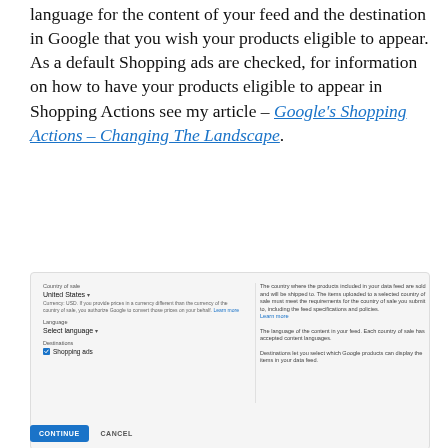language for the content of your feed and the destination in Google that you wish your products eligible to appear. As a default Shopping ads are checked, for information on how to have your products eligible to appear in Shopping Actions see my article – Google's Shopping Actions – Changing The Landscape.
[Figure (screenshot): Screenshot of a Google Merchant Center form showing Country of sale (United States), Language (Select language), and Destinations (Shopping ads checked), with explanatory text on the right side.]
[Figure (screenshot): CONTINUE and CANCEL buttons at the bottom of the form.]